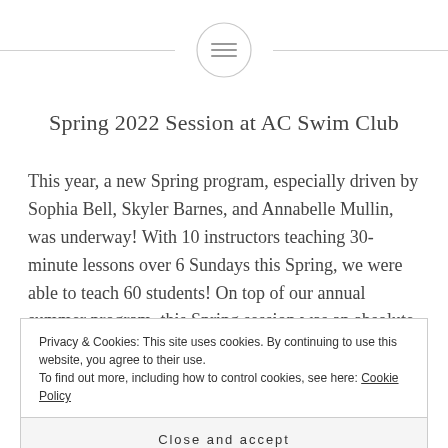[Figure (other): Circular icon with three horizontal lines (hamburger/menu icon) centered at the top of the page, flanked by horizontal gray lines on each side]
Spring 2022 Session at AC Swim Club
This year, a new Spring program, especially driven by Sophia Bell, Skyler Barnes, and Annabelle Mullin, was underway! With 10 instructors teaching 30-minute lessons over 6 Sundays this Spring, we were able to teach 60 students! On top of our annual summer program, this Spring session was an absolute blast. and its never a bad...
Privacy & Cookies: This site uses cookies. By continuing to use this website, you agree to their use.
To find out more, including how to control cookies, see here: Cookie Policy
Close and accept